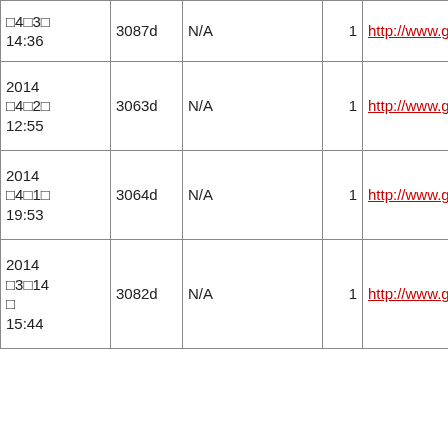| Date | ID | N/A | Count | URL |
| --- | --- | --- | --- | --- |
| 2014
□4□3□
14:36 | 3087d | N/A | 1 | http://www.google.co.jp/ur... |
| 2014
□4□2□
12:55 | 3063d | N/A | 1 | http://www.google.co.jp/ur... |
| 2014
□4□1□
19:53 | 3064d | N/A | 1 | http://www.google.co.jp/ur... |
| 2014
□3□14□
15:44 | 3082d | N/A | 1 | http://www.google.co.jp/ur... |
| 2014
□3□12□
11:17 | 3084d | N/A | 1 | http://www.google.co.jp/ur... |
| 2014
□3□6□
11:07 | 3090d | N/A | 1 | http://www.google.co.jp/ur... |
| 2014
□3□5□
00:51 | 3091d | N/A | 1 | http://www.google.co.jp/ur... |
| 2014
□3□3□ | 3093d | N/A | 1 | http://www.google.co.jp/ur... |